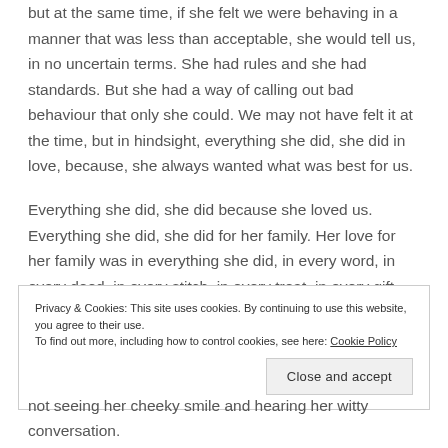but at the same time, if she felt we were behaving in a manner that was less than acceptable, she would tell us, in no uncertain terms. She had rules and she had standards. But she had a way of calling out bad behaviour that only she could. We may not have felt it at the time, but in hindsight, everything she did, she did in love, because, she always wanted what was best for us.
Everything she did, she did because she loved us. Everything she did, she did for her family. Her love for her family was in everything she did, in every word, in every deed, in every stitch, in every treat, in every gift.
Privacy & Cookies: This site uses cookies. By continuing to use this website, you agree to their use.
To find out more, including how to control cookies, see here: Cookie Policy
Close and accept
not seeing her cheeky smile and hearing her witty conversation.